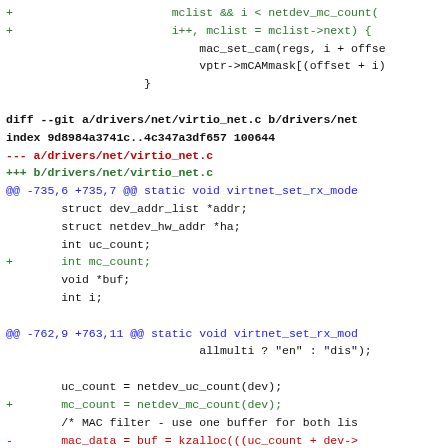[Figure (screenshot): A git diff patch showing changes to Linux kernel networking drivers. Green lines are additions, red lines are deletions, blue lines are file headers, and black lines are context. The diff shows changes to drivers/net/virtio_net.c adding mc_count variable and related code.]